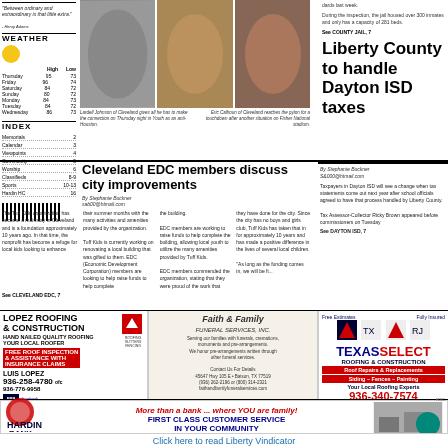Between ordinary and extraordinary is that little extra.
WEATHER
|  | High | Low |
| --- | --- | --- |
| Thursday | 95 | 73 |
| Friday | 96 | 74 |
| Saturday | 84 | 72 |
| Sunday | 80 | 72 |
| Monday | 84 | 73 |
| Tuesday | 84 | 72 |
| Wednesday | 86 | 73 |
INDEX
| Section | Page |
| --- | --- |
| Memorials | 2 |
| Calendar | 3 |
| Viewpoints | 4 |
| Community | 5 |
| Worship | 6 |
| Classifieds | 8-9 |
| Sports | 10-13 |
| Hardin HC | 16 |
[Figure (photo): Football action photo left - Lardell Johnson of Cleveland gives all he has to make the connection on Thursday]
[Figure (photo): Football action photo center - player reaching for ball]
[Figure (photo): Football action photo right - Eric Calhoun of Cleveland reaches the pylon for a touchdown]
See COUNTY JAIL, 7
During the inspection, the jail housed over 300 inmates and only has a capacity of 281 beds.
Liberty County to handle Dayton ISD taxes
By Stephanie Buckner
S&000@htmail.com
Cleveland EDC members discuss city improvements
By Stephanie Buckner
sab00@htmail.com
The Tuff Kids organization has become a mainstay in Cleveland and is a foundation approximately 10 years ago. In that time, the nonprofit has become a refuge for local kids looking to enhance their summer months with the many activities and amenities provided by the organization.

Tuff Kids is currently working on renovating a local building that was gifted to them. EDC (Economic Development Corporation) members are looking to help raise funds to help complete the building.

EDC members are working to raise funds to help complete the building, allowing local youth to utilize the many amenities provided by Tuff Kids.

EDC members commended the organization, stating that they were proud of the work that they have done for the city. Since the city has no boys and girls club, Tuff Kids has taken that in for approximately 10 years and has made a positive difference in the lives of several local children.

"As long as the funding comes in, we will be fi..."
See CLEVELAND EDC, 7
Taxpayers in Dayton ISD will see a change when tax statements come out next year after school officials agreed to have that process handled by Liberty County.

Tax Assessor-Collector Ricky Brown appeared before commissioners on Tuesday
See DAYTON ISD, 7
[Figure (other): Lopez Roofing & Construction advertisement - Hand Nailed Quality Roofing, Free Roof Inspection & Assistance With Insurance Claims, Luis Lopez, 936-258-4780 ofc, 936-776-9958]
[Figure (other): Faith & Family Funeral Services advertisement - Serving our families with funerals, cremations, monuments and pre-arrangements]
[Figure (other): Texas Select Roofing & Construction advertisement - Free Estimates, Fully Insured, Roof Repairs & Replacements, Siding - Fences - Painting, 936-340-7574]
[Figure (other): Hardin Bank advertisement - More than a bank... where YOU are family! First Class Customer Service In Your Community, 11118 HWY 146, Hardin, TX 77561, 936-298-2365]
Click here to read Liberty Vindicator